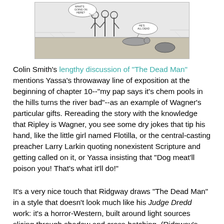[Figure (illustration): Black and white comic strip panel showing figures in an outdoor/desert scene with speech bubbles, partially cropped at top.]
Colin Smith's lengthy discussion of "The Dead Man" mentions Yassa's throwaway line of exposition at the beginning of chapter 10--"my pap says it's chem pools in the hills turns the river bad"--as an example of Wagner's particular gifts. Rereading the story with the knowledge that Ripley is Wagner, you see some dry jokes that tip his hand, like the little girl named Flotilla, or the central-casting preacher Larry Larkin quoting nonexistent Scripture and getting called on it, or Yassa insisting that "Dog meat'll poison you! That's what it'll do!"
It's a very nice touch that Ridgway draws "The Dead Man" in a style that doesn't look much like his Judge Dredd work: it's a horror-Western, built around light sources slicing through shadow and cross-hatching. (Ridgway's inking here reminds me a little of Alfredo Alcala, actually.) I guess we know as of the cover of Prog 661 that Dredd's eyes are blue--or, at least, that the replacement eyes he got after "City of the Damned"